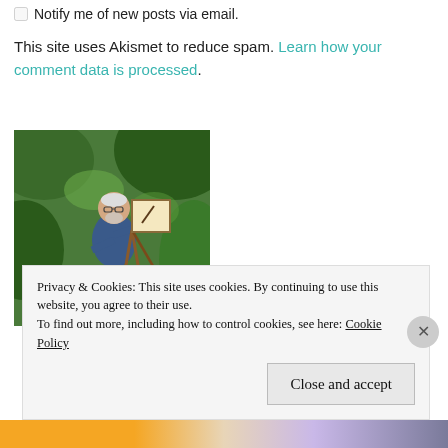☐ Notify me of new posts via email.
This site uses Akismet to reduce spam. Learn how your comment data is processed.
[Figure (photo): An older man with white beard sitting outdoors painting on an easel, surrounded by green foliage.]
Privacy & Cookies: This site uses cookies. By continuing to use this website, you agree to their use.
To find out more, including how to control cookies, see here: Cookie Policy
Close and accept